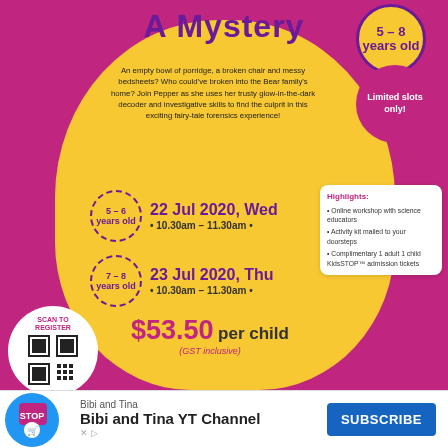A Mystery
5 – 8 years old
An empty bowl of porridge, a broken chair and messy bedsheets? Who could've broken into the Bear family's home? Join Pepper as she uses her trusty glow-in-the-dark decoder and investigative skills to find the culprit in this exciting fairy-tale forensics experience!
Limited slots only!
5 – 6 years old  22 Jul 2020, Wed  • 10.30am – 11.30am •
Highlights:
• Online workshop with science educators
• Activity kit mailed to your doorsteps
• Complimentary 1 adult 1 child KidsSTOP™ admission tickets
7 – 8 years old  23 Jul 2020, Thu  • 10.30am – 11.30am •
$53.50 per child
(GST inclusive)
SCAN TO REGISTER
CONTACT US:
kidsSTOP_Events@science.edu.sg
(65) 6425 2500
kidsstopsg  kidsstopsingapore
www.kidsSTOP.edu.sg
21 Jurong Town Hall Road, Singapore 609433
Bibi and Tina
Bibi and Tina YT Channel
SUBSCRIBE